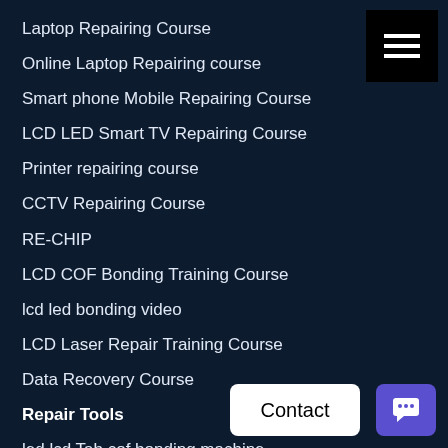Laptop Repairing Course
Online Laptop Repairing course
Smart phone Mobile Repairing Course
LCD LED Smart TV Repairing Course
Printer repairing course
CCTV Repairing Course
RE-CHIP
LCD COF Bonding Training Course
lcd led bonding video
LCD Laser Repair Training Course
Data Recovery Course
Repair Tools
led lcd Tab cof bonding machine
VD480PS model
[Figure (screenshot): Hamburger menu icon (three horizontal white lines on black background) in top right corner]
[Figure (screenshot): Contact button (white rounded rectangle with 'Contact' text) and chat icon button (purple rounded rectangle with speech bubble icon) in bottom right corner]